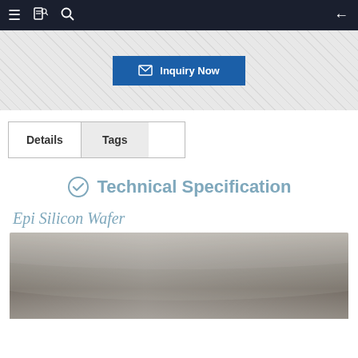Navigation bar with menu, bookmark, search, and back icons
[Figure (screenshot): Blue 'Inquiry Now' button with envelope icon on a light gray textured background]
| Details | Tags |
| --- | --- |
Technical Specification
Epi Silicon Wafer
[Figure (photo): Close-up photograph of an Epi Silicon Wafer showing its metallic reflective surface with curved edge]